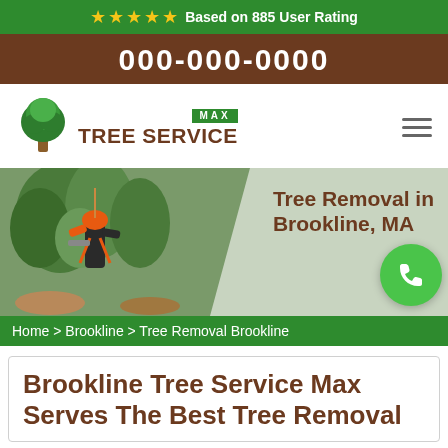★★★★★ Based on 885 User Rating
000-000-0000
[Figure (logo): Max Tree Service logo with green tree icon and company name]
[Figure (photo): Arborist in orange helmet working in a tree with chainsaw, hero banner image]
Tree Removal in Brookline, MA
Home > Brookline > Tree Removal Brookline
Brookline Tree Service Max Serves The Best Tree Removal